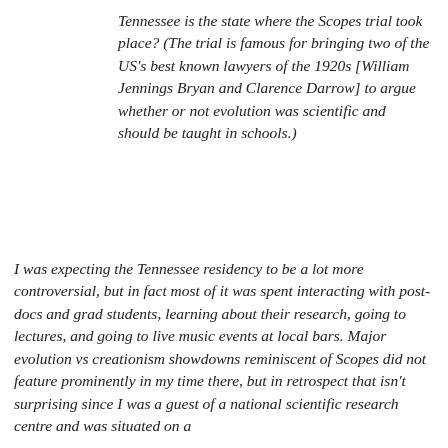Tennessee is the state where the Scopes trial took place? (The trial is famous for bringing two of the US's best known lawyers of the 1920s [William Jennings Bryan and Clarence Darrow] to argue whether or not evolution was scientific and should be taught in schools.)
I was expecting the Tennessee residency to be a lot more controversial, but in fact most of it was spent interacting with post-docs and grad students, learning about their research, going to lectures, and going to live music events at local bars. Major evolution vs creationism showdowns reminiscent of Scopes did not feature prominently in my time there, but in retrospect that isn't surprising since I was a guest of a national scientific research centre and was situated on a